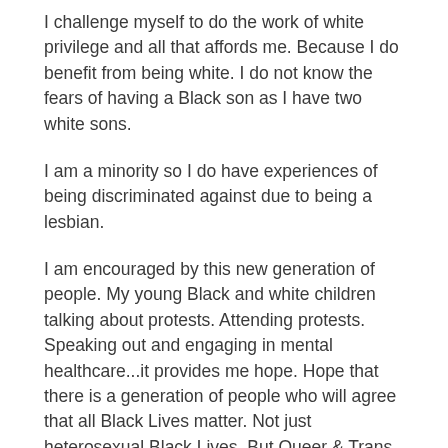I challenge myself to do the work of white privilege and all that affords me. Because I do benefit from being white. I do not know the fears of having a Black son as I have two white sons.
I am a minority so I do have experiences of being discriminated against due to being a lesbian.
I am encouraged by this new generation of people. My young Black and white children talking about protests. Attending protests. Speaking out and engaging in mental healthcare...it provides me hope. Hope that there is a generation of people who will agree that all Black Lives matter. Not just heterosexual Black Lives. But Queer & Trans Black Lives Matter too.
These past weeks have been emotionally draining in so many ways. I cannot imagine the emotions running